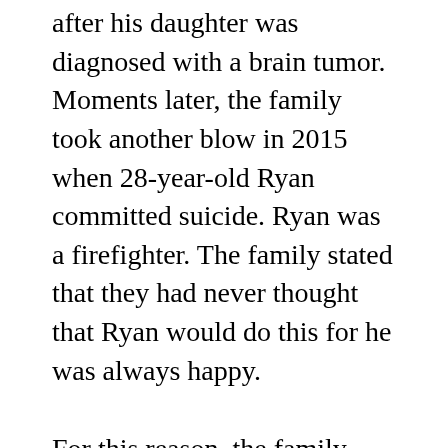after his daughter was diagnosed with a brain tumor. Moments later, the family took another blow in 2015 when 28-year-old Ryan committed suicide. Ryan was a firefighter. The family stated that they had never thought that Ryan would do this for he was always happy.
For this reason, the family established RE; ACT, the Ryan Elwood Awareness, Counseling and Training Fund. The information about his parents and other relatives is still under review. Lastly, we can say that Elwood is leading an